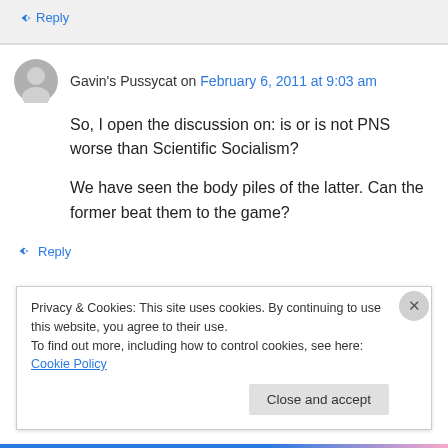↳ Reply
Gavin's Pussycat on February 6, 2011 at 9:03 am
So, I open the discussion on: is or is not PNS worse than Scientific Socialism?

We have seen the body piles of the latter. Can the former beat them to the game?
↳ Reply
Privacy & Cookies: This site uses cookies. By continuing to use this website, you agree to their use.
To find out more, including how to control cookies, see here: Cookie Policy
Close and accept